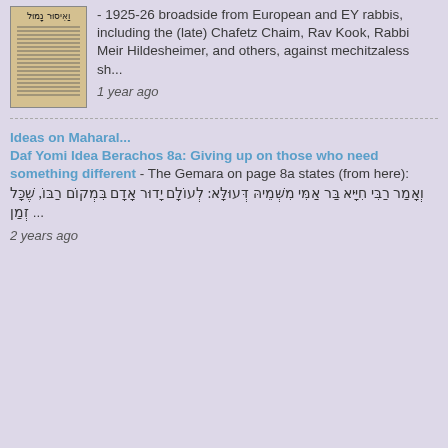[Figure (photo): Thumbnail image of a historical broadside document with Hebrew text]
- 1925-26 broadside from European and EY rabbis, including the (late) Chafetz Chaim, Rav Kook, Rabbi Meir Hildesheimer, and others, against mechitzaless sh...
1 year ago
Ideas on Maharal... Daf Yomi Idea Berachos 8a: Giving up on those who need something different - The Gemara on page 8a states (from here): וְאָמַר רַבִּי חִיָּיא בַּר אַמִּי מִשְּׁמֵיהּ דְּעוּלָּא: לְעוֹלָם יָדוּר אָדָם בִּמְקוֹם רַבּוֹ, שֶׁכָּל זְמַן ...
2 years ago